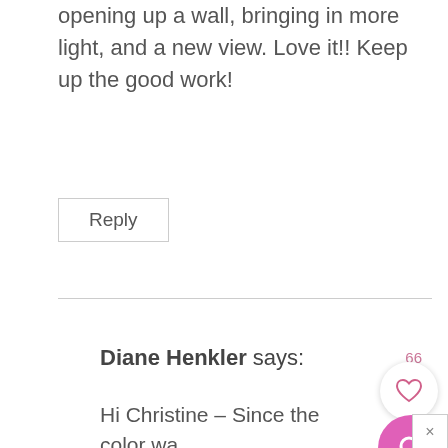opening up a wall, bringing in more light, and a new view. Love it!! Keep up the good work!
Reply
Diane Henkler says:
Hi Christine – Since the color wa on the walls when we moved in, I don't know the name of the color.